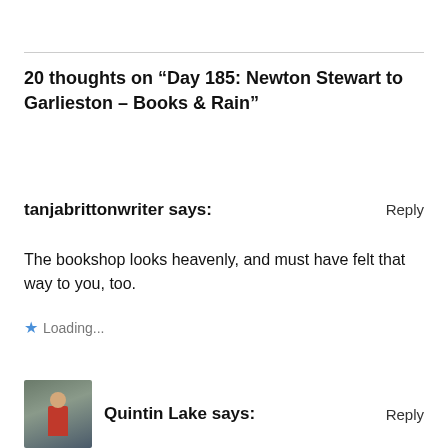20 thoughts on “Day 185: Newton Stewart to Garlieston – Books & Rain”
tanjabrittonwriter says:
Reply
The bookshop looks heavenly, and must have felt that way to you, too.
★ Loading...
Quintin Lake says:
Reply